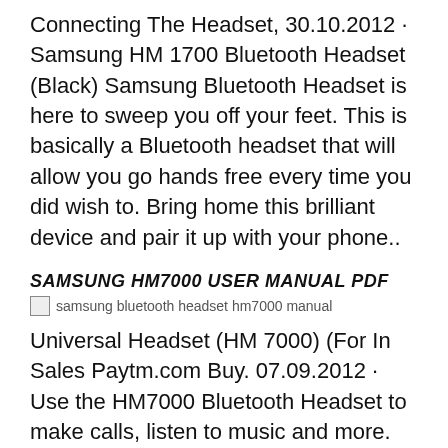Connecting The Headset, 30.10.2012 · Samsung HM 1700 Bluetooth Headset (Black) Samsung Bluetooth Headset is here to sweep you off your feet. This is basically a Bluetooth headset that will allow you go hands free every time you did wish to. Bring home this brilliant device and pair it up with your phone..
SAMSUNG HM7000 USER MANUAL PDF
[Figure (photo): Broken image placeholder with alt text: samsung bluetooth headset hm7000 manual]
Universal Headset (HM 7000) (For In Sales Paytm.com Buy. 07.09.2012 · Use the HM7000 Bluetooth Headset to make calls, listen to music and more. Watch this video to learn how. https://en.m.wikipedia.org/wiki/OxygenOS HM7000. Solutions & Tips. Download Manual